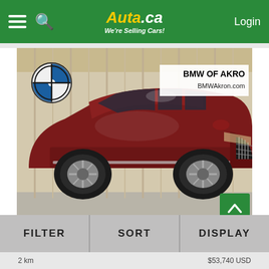Auta.ca — We're Selling Cars! | Login
[Figure (photo): Red BMW X3 SUV photographed in a showroom with beige curtain backdrop. BMW of Akro dealership logo and BMWAkron.com URL visible in upper right corner of photo. BMW roundel badge visible upper left.]
FILTER | SORT | DISPLAY
2 km
$53,740 USD